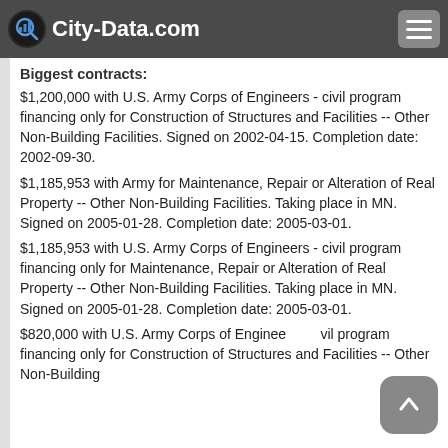City-Data.com
$3,440,201; 2005: $3,655,462; 2000: $0.
Biggest contracts:
$1,200,000 with U.S. Army Corps of Engineers - civil program financing only for Construction of Structures and Facilities -- Other Non-Building Facilities. Signed on 2002-04-15. Completion date: 2002-09-30.
$1,185,953 with Army for Maintenance, Repair or Alteration of Real Property -- Other Non-Building Facilities. Taking place in MN. Signed on 2005-01-28. Completion date: 2005-03-01.
$1,185,953 with U.S. Army Corps of Engineers - civil program financing only for Maintenance, Repair or Alteration of Real Property -- Other Non-Building Facilities. Taking place in MN. Signed on 2005-01-28. Completion date: 2005-03-01.
$820,000 with U.S. Army Corps of Engineers - civil program financing only for Construction of Structures and Facilities -- Other Non-Building